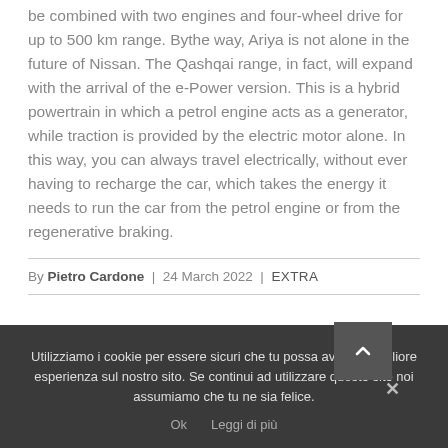be combined with two engines and four-wheel drive for up to 500 km range. Bythe way, Ariya is not alone in the future of Nissan. The Qashqai range, in fact, will expand with the arrival of the e-Power version. This is a hybrid powertrain in which a petrol engine acts as a generator, while traction is provided by the electric motor alone. In this way, you can always travel electrically, without ever having to recharge the car, which takes the energy it needs to run the car from the petrol engine or from the regenerative braking.
By Pietro Cardone | 24 March 2022 | EXTRA
Utilizziamo i cookie per essere sicuri che tu possa avere la migliore esperienza sul nostro sito. Se continui ad utilizzare questo sito noi assumiamo che tu ne sia felice.
Ok   Leggi di più